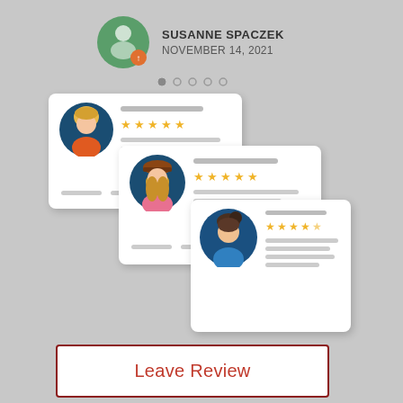SUSANNE SPACZEK
NOVEMBER 14, 2021
[Figure (illustration): Three overlapping review cards each showing a cartoon person avatar in a circle, star ratings (5 stars), and placeholder gray lines for text content. Three different characters: blond man, woman with hat, and dark-haired person.]
Leave Review